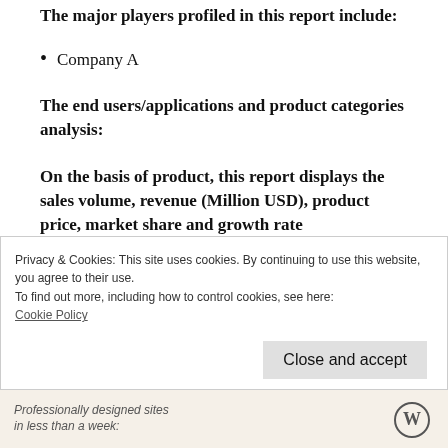The major players profiled in this report include:
Company A
The end users/applications and product categories analysis:
On the basis of product, this report displays the sales volume, revenue (Million USD), product price, market share and growth rate
Privacy & Cookies: This site uses cookies. By continuing to use this website, you agree to their use.
To find out more, including how to control cookies, see here: Cookie Policy
Close and accept
Professionally designed sites in less than a week: